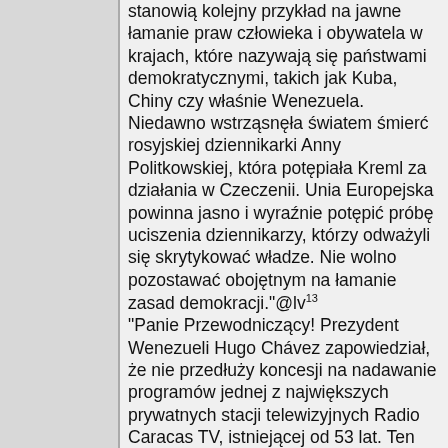stanowią kolejny przykład na jawne łamanie praw człowieka i obywatela w krajach, które nazywają się państwami demokratycznymi, takich jak Kuba, Chiny czy właśnie Wenezuela. Niedawno wstrząsnęła światem śmierć rosyjskiej dziennikarki Anny Politkowskiej, która potępiała Kreml za działania w Czeczenii. Unia Europejska powinna jasno i wyraźnie potępić próbę uciszenia dziennikarzy, którzy odważyli się skrytykować władze. Nie wolno pozostawać obojętnym na łamanie zasad demokracji."@lv¹³ "Panie Przewodniczący! Prezydent Wenezueli Hugo Chávez zapowiedział, że nie przedłuży koncesji na nadawanie programów jednej z największych prywatnych stacji telewizyjnych Radio Caracas TV, istniejącej od 53 lat. Ten ruch to nic innego jak